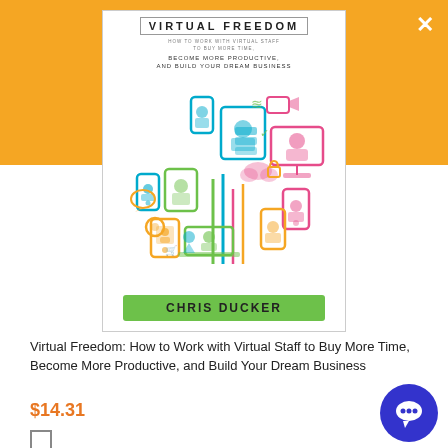[Figure (illustration): Book cover for 'Virtual Freedom: How to Work with Virtual Staff to Buy More Time, Become More Productive, and Build Your Dream Business' by Chris Ducker. The cover features a colorful tree-like illustration made of technology and communication icons (smartphones, laptops, video screens, social media icons, etc.) in orange, green, blue, teal, and pink. The author name is in a green banner at the bottom.]
Virtual Freedom: How to Work with Virtual Staff to Buy More Time, Become More Productive, and Build Your Dream Business
$14.31